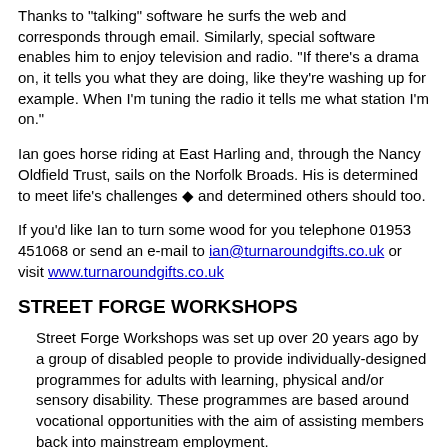Thanks to "talking" software he surfs the web and corresponds through email. Similarly, special software enables him to enjoy television and radio. "If there's a drama on, it tells you what they are doing, like they're washing up for example. When I'm tuning the radio it tells me what station I'm on."
Ian goes horse riding at East Harling and, through the Nancy Oldfield Trust, sails on the Norfolk Broads. His is determined to meet life's challenges ◆ and determined others should too.
If you'd like Ian to turn some wood for you telephone 01953 451068 or send an e-mail to ian@turnaroundgifts.co.uk or visit www.turnaroundgifts.co.uk
STREET FORGE WORKSHOPS
Street Forge Workshops was set up over 20 years ago by a group of disabled people to provide individually-designed programmes for adults with learning, physical and/or sensory disability. These programmes are based around vocational opportunities with the aim of assisting members back into mainstream employment.